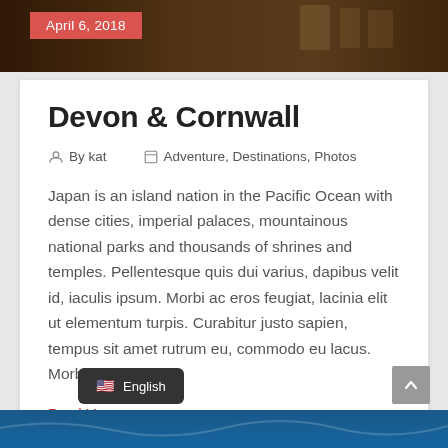[Figure (photo): Hero image of a street scene with dark warm overlay at top of page]
April 6, 2018
Devon & Cornwall
By kat   Adventure, Destinations, Photos
Japan is an island nation in the Pacific Ocean with dense cities, imperial palaces, mountainous national parks and thousands of shrines and temples. Pellentesque quis dui varius, dapibus velit id, iaculis ipsum. Morbi ac eros feugiat, lacinia elit ut elementum turpis. Curabitur justo sapien, tempus sit amet rutrum eu, commodo eu lacus. Morbi in ligula
Read More +
[Figure (photo): Blue water/ocean scene at bottom of page]
English